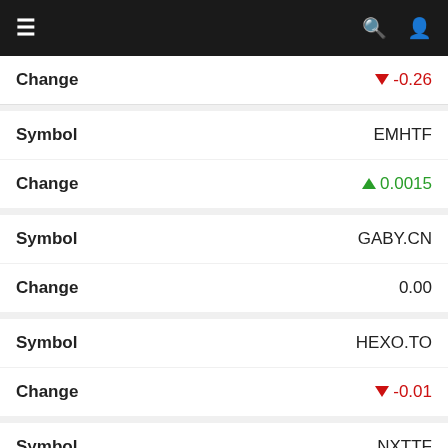Navigation bar with menu, search, and user icons
| Label | Value |
| --- | --- |
| Change | ▼ -0.26 |
| Symbol | EMHTF |
| Change | ▲ 0.0015 |
| Symbol | GABY.CN |
| Change | 0.00 |
| Symbol | HEXO.TO |
| Change | ▼ -0.01 |
| Symbol | NXTTF |
| Change | ▲ 0.0007 |
| Symbol | PLNHF |
| Change | ▲ 0.05 |